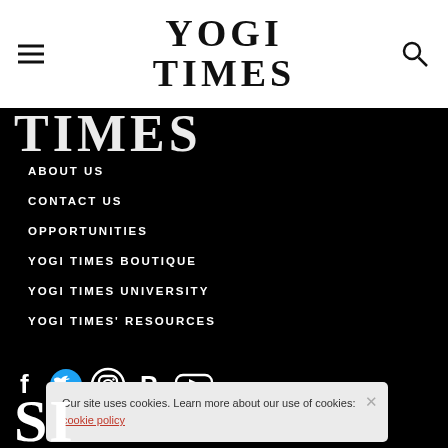[Figure (logo): Yogi Times logo in bold serif font, centered in white navigation bar]
ABOUT US
CONTACT US
OPPORTUNITIES
YOGI TIMES BOUTIQUE
YOGI TIMES UNIVERSITY
YOGI TIMES' RESOURCES
[Figure (illustration): Social media icons: Facebook, Twitter, Instagram, Pinterest, YouTube]
Our site uses cookies. Learn more about our use of cookies: cookie policy
SI